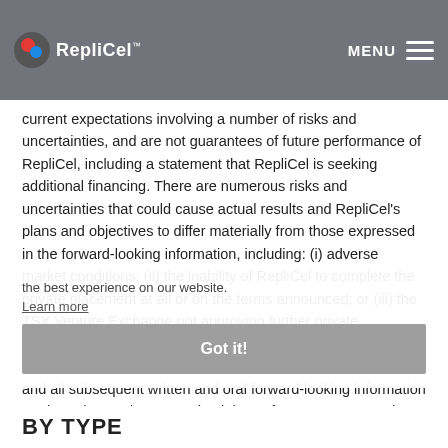[Figure (logo): RepliCel logo with navigation bar showing MENU button and hamburger icon on dark grey background]
current expectations involving a number of risks and uncertainties, and are not guarantees of future performance of RepliCel, including a statement that RepliCel is seeking additional financing. There are numerous risks and uncertainties that could cause actual results and RepliCel's plans and objectives to differ materially from those expressed in the forward-looking information, including: (i) adverse market conditions; (ii) the inability of RepliCel to complete the private placement at all or on the terms announced; or (iii) the TSX Venture Exchange not approving further private placements. Actual results and future events could differ materially from those anticipated in such information. These and all subsequent written and oral forward-looking information are based on estimates and opinions of management on the dates they are made and are expressly qualified in their entirety by this notice. Except as required by law, RepliCel does not intend to update these forward-looking statements.
the best experience on our website.
Learn more
Got it!
BY TYPE